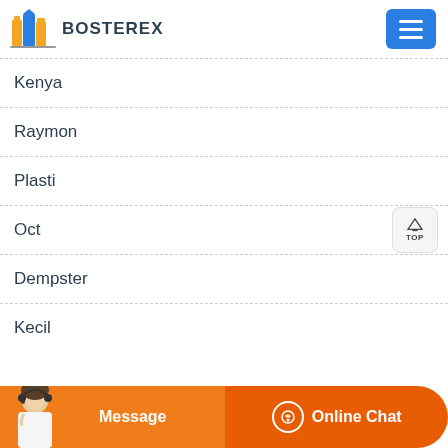BOSTEREX
Kenya
Raymon
Plasti
Oct
Dempster
Kecil
Message | Online Chat